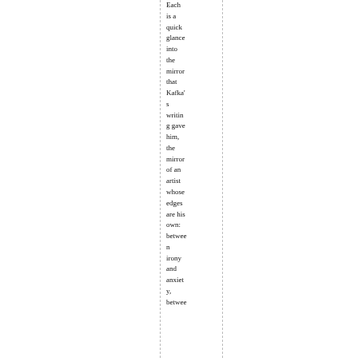Each is a quick glance into the mirror that Kafka's writing gave him, the mirror of an artist whose edges are his own: between irony and anxiety, between